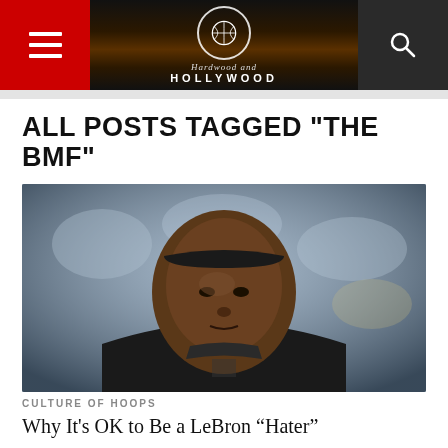Hardwood and Hollywood
ALL POSTS TAGGED "THE BMF"
[Figure (photo): Close-up photo of LeBron James in a dark basketball jersey, looking intensely to the side, with a crowd blurred in the background]
CULTURE OF HOOPS
Why It's OK to Be a LeBron “Hater”
I’d like to start this piece by telling you a story about an athlete. This athlete at a young age was…